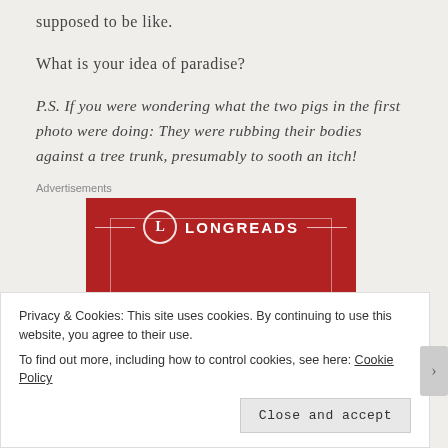supposed to be like.
What is your idea of paradise?
P.S. If you were wondering what the two pigs in the first photo were doing: They were rubbing their bodies against a tree trunk, presumably to sooth an itch!
[Figure (advertisement): Longreads advertisement banner with red background, circular L logo, and tagline 'The best stories on']
Privacy & Cookies: This site uses cookies. By continuing to use this website, you agree to their use.
To find out more, including how to control cookies, see here: Cookie Policy
Close and accept